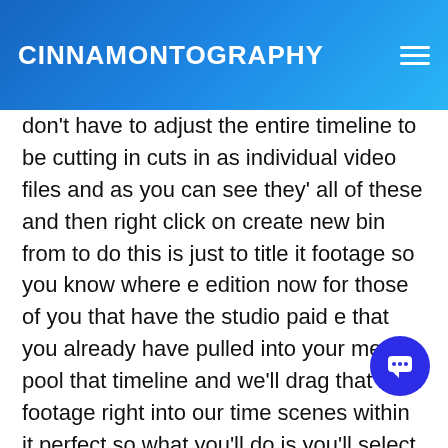CINNAMONTOGRAPHY
don't have to adjust the entire timeline to be cutting in cuts in as individual video files and as you can see they' all of these and then right click on create new bin from to do this is just to title it footage so you know where e edition now for those of you that have the studio paid e that you already have pulled into your media pool that timeline and we'll drag that footage right into our time scenes within it perfect so what you'll do is you'll select much manual control as the previous way i showed ho having to go back and pull the footage all the way back makes it a lot quicker and faster all right now that it's fi and honestly i think it does a pretty good job eri in here and pull all the clips around you can re-c into davinci resolve those are two fast and easy ways